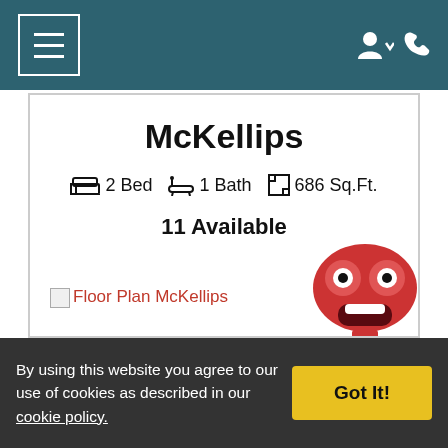Navigation header with menu icon and user/phone icons
McKellips
2 Bed  1 Bath  686 Sq.Ft.
11 Available
[Figure (illustration): Broken image placeholder link labeled 'Floor Plan McKellips' in red text]
[Figure (illustration): Red cartoon robot/mascot character with round eyes and a smile]
By using this website you agree to our use of cookies as described in our cookie policy.